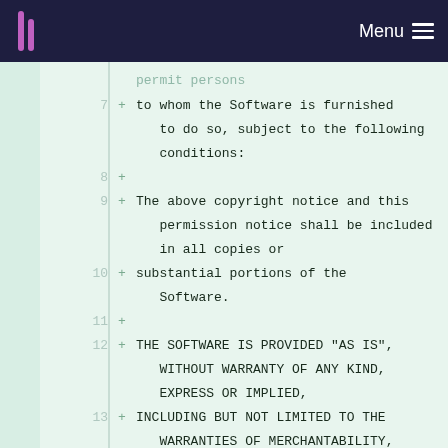Menu
7  + to whom the Software is furnished to do so, subject to the following conditions:
8  +
9  + The above copyright notice and this permission notice shall be included in all copies or
10 + substantial portions of the Software.
11 +
12 + THE SOFTWARE IS PROVIDED "AS IS", WITHOUT WARRANTY OF ANY KIND, EXPRESS OR IMPLIED,
13 + INCLUDING BUT NOT LIMITED TO THE WARRANTIES OF MERCHANTABILITY, FITNESS FOR A PARTICULAR
14 + PURPOSE AND NONINFRINGEMENT. IN NO EVENT SHALL THE AUTHORS OR COPYRIGHT HOLDERS BE LIABLE
15 + FOR ANY CLAIM, DAMAGES OR OTHER